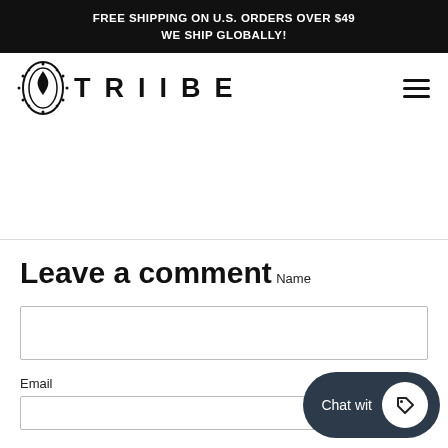FREE SHIPPING ON U.S. ORDERS OVER $49
WE SHIP GLOBALLY!
[Figure (logo): TRIIBE brand logo with decorative circular emblem on the left and stylized TRIIBE text on the right]
Leave a comment
Name
Email
[Figure (other): Chat widget button with text 'Chat wit' and a heart/tag icon]